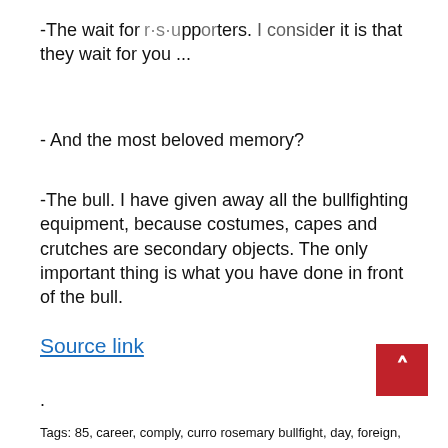-The wait for supporters. I consider it is that they wait for you ...
- And the most beloved memory?
-The bull. I have given away all the bullfighting equipment, because costumes, capes and crutches are secondary objects. The only important thing is what you have done in front of the bull.
.
Source link
Tags: 85, career, comply, curro rosemary bullfight, day, foreign,